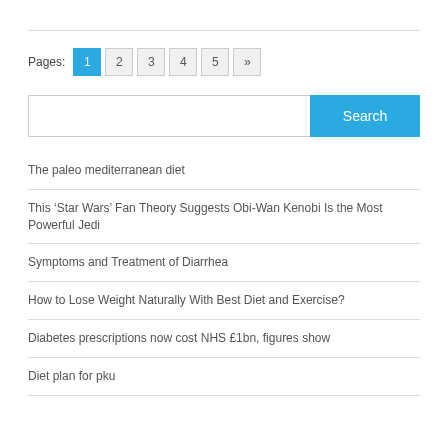Pages: 1 2 3 4 5 »
Search
The paleo mediterranean diet
This ‘Star Wars’ Fan Theory Suggests Obi-Wan Kenobi Is the Most Powerful Jedi
Symptoms and Treatment of Diarrhea
How to Lose Weight Naturally With Best Diet and Exercise?
Diabetes prescriptions now cost NHS £1bn, figures show
Diet plan for pku